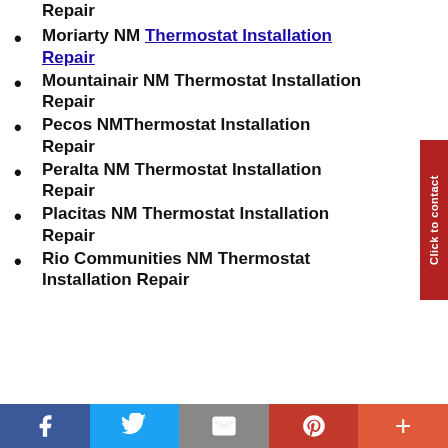Repair
Moriarty NM Thermostat Installation Repair
Mountainair NM Thermostat Installation Repair
Pecos NMThermostat Installation Repair
Peralta NM Thermostat Installation Repair
Placitas NM Thermostat Installation Repair
Rio Communities NM Thermostat Installation Repair
Facebook | Twitter | Email | Pinterest | More